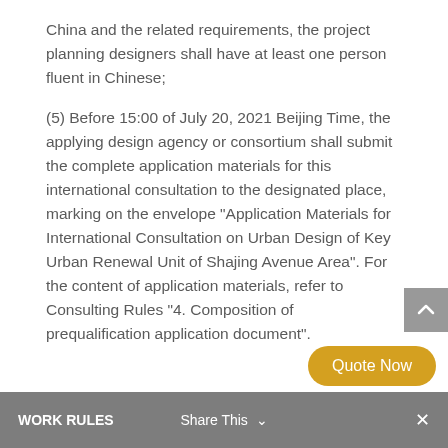China and the related requirements, the project planning designers shall have at least one person fluent in Chinese;
(5) Before 15:00 of July 20, 2021 Beijing Time, the applying design agency or consortium shall submit the complete application materials for this international consultation to the designated place, marking on the envelope “Application Materials for International Consultation on Urban Design of Key Urban Renewal Unit of Shajing Avenue Area”. For the content of application materials, refer to Consulting Rules “4. Composition of prequalification application document”.
WORK RULES   Share This   ×